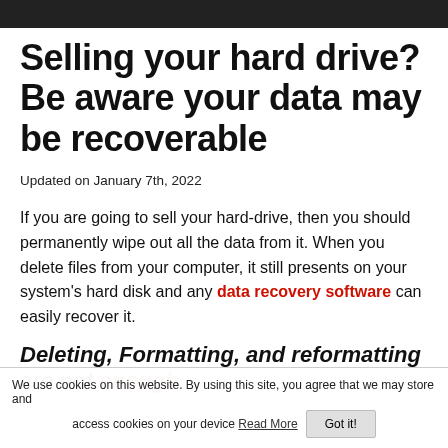Selling your hard drive? Be aware your data may be recoverable
Updated on January 7th, 2022
If you are going to sell your hard-drive, then you should permanently wipe out all the data from it. When you delete files from your computer, it still presents on your system's hard disk and any data recovery software can easily recover it.
Deleting, Formatting, and reformatting are not enough.
We use cookies on this website. By using this site, you agree that we may store and access cookies on your device Read More  Got it!